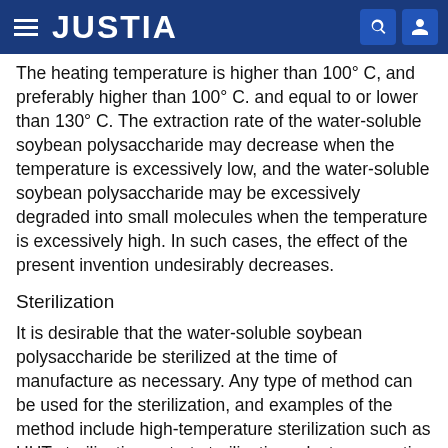JUSTIA
The heating temperature is higher than 100° C, and preferably higher than 100° C. and equal to or lower than 130° C. The extraction rate of the water-soluble soybean polysaccharide may decrease when the temperature is excessively low, and the water-soluble soybean polysaccharide may be excessively degraded into small molecules when the temperature is excessively high. In such cases, the effect of the present invention undesirably decreases.
Sterilization
It is desirable that the water-soluble soybean polysaccharide be sterilized at the time of manufacture as necessary. Any type of method can be used for the sterilization, and examples of the method include high-temperature sterilization such as UHT sterilization, retort sterilization, electromagnetic sterilization, high-